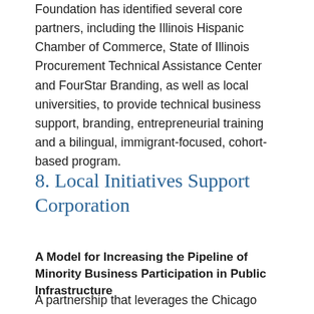Foundation has identified several core partners, including the Illinois Hispanic Chamber of Commerce, State of Illinois Procurement Technical Assistance Center and FourStar Branding, as well as local universities, to provide technical business support, branding, entrepreneurial training and a bilingual, immigrant-focused, cohort-based program.
8. Local Initiatives Support Corporation
A Model for Increasing the Pipeline of Minority Business Participation in Public Infrastructure
A partnership that leverages the Chicago Transit Authority's $1.2 billion Red/Purple modernization